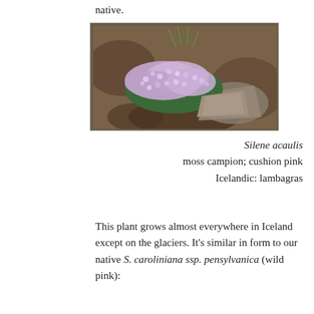native.
[Figure (photo): Photograph of Silene acaulis (moss campion / cushion pink) — a low cushion of tiny pink-lavender flowers growing among brown rocky soil and gravel, with tufts of grass emerging from the plant center.]
Silene acaulis
moss campion; cushion pink
Icelandic: lambagras
This plant grows almost everywhere in Iceland except on the glaciers. It's similar in form to our native S. caroliniana ssp. pensylvanica (wild pink):